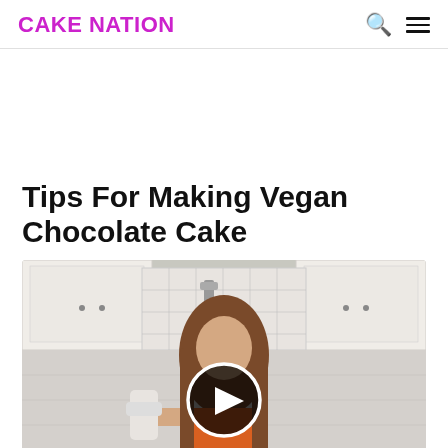CAKE NATION
Tips For Making Vegan Chocolate Cake
[Figure (photo): Woman in a kitchen holding a hand mixer, with white cabinets and tile backsplash in the background. A video play button overlay is visible in the center of the image.]